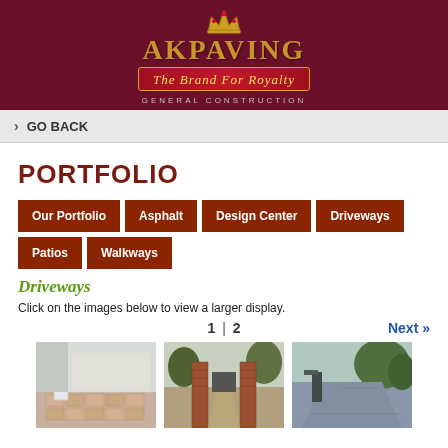[Figure (logo): AK Paving logo with crown, gold serif text 'AKPAVING', red banner with italic script 'The Brand For Royalty', subtitle 'GENERAL CONSTRUCTION' on dark maroon background]
› GO BACK
PORTFOLIO
Our Portfolio
Asphalt
Design Center
Driveways
Patios
Walkways
Driveways
Click on the images below to view a larger display.
1 | 2   Next »
[Figure (photo): Driveway with patterned brick/paver surface and white pillar/gate]
[Figure (photo): Driveway entrance with brick pillar walls and pathway leading to garage]
[Figure (photo): Stone/paver driveway with blue-grey tones and surrounding green trees]